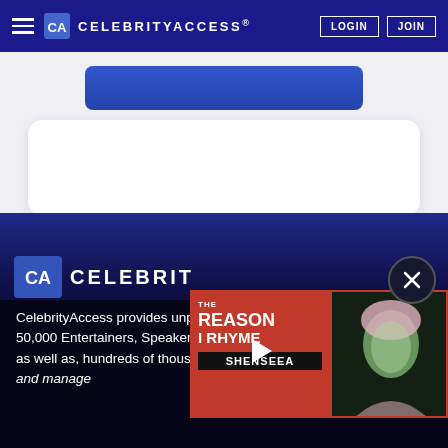CelebrityAccess®  LOGIN  JOIN
[Figure (screenshot): CelebrityAccess website screenshot showing navy navigation bar with hamburger menu, CelebrityAccess logo, LOGIN and JOIN buttons, a search/content card area, dark gradient footer with logo and description text, a close (X) button, and a video thumbnail for 'The Reason I Rhyme - Shenseea' with a woman's portrait and red play button overlay.]
CelebrityAccess provides unparalle[led access to over] 50,000 Entertainers, Speakers, Celeb[rities and Athletes,] as well as, hundreds of thousands [of industry contacts] and manage[rs...]